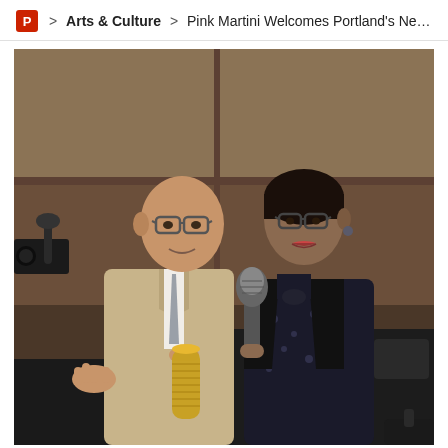P > Arts & Culture > Pink Martini Welcomes Portland's New Citiz
[Figure (photo): Two people standing indoors in what appears to be a courtroom or formal hearing room with wood-paneled walls. On the left is a bald man wearing glasses, a tan/beige suit, white dress shirt, and gray tie, holding a yellow/gold cylindrical percussion instrument (agogo or similar). On the right is a woman with dark hair pulled back, wearing glasses, a dark floral dress, and a black jacket, holding a microphone up to the man. A TV camera is visible on the far left. Courtroom seating is visible in the background.]